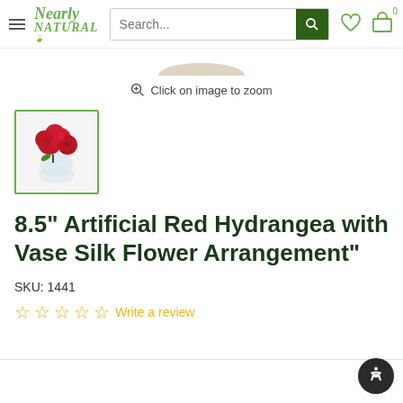Nearly Natural — Search bar, wishlist and cart icons
[Figure (photo): Partial view of a vase bottom at top of product image gallery]
Click on image to zoom
[Figure (photo): Thumbnail of 8.5 inch artificial red hydrangea with vase silk flower arrangement — red hydrangea blooms in a round glass vase]
8.5" Artificial Red Hydrangea with Vase Silk Flower Arrangement"
SKU: 1441
☆☆☆☆☆ Write a review